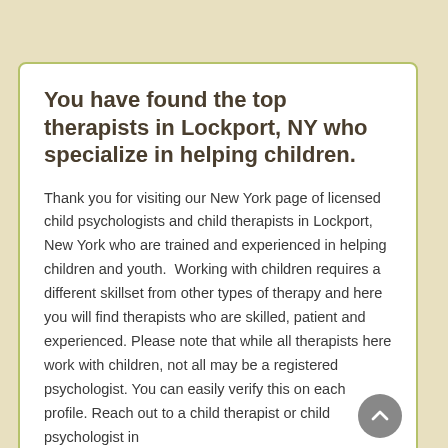You have found the top therapists in Lockport, NY who specialize in helping children.
Thank you for visiting our New York page of licensed child psychologists and child therapists in Lockport, New York who are trained and experienced in helping children and youth.  Working with children requires a different skillset from other types of therapy and here you will find therapists who are skilled, patient and experienced. Please note that while all therapists here work with children, not all may be a registered psychologist. You can easily verify this on each profile. Reach out to a child therapist or child psychologist in